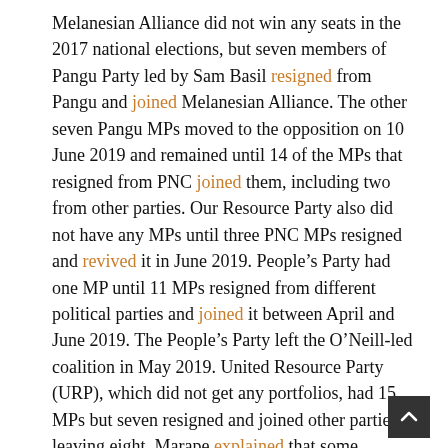Melanesian Alliance did not win any seats in the 2017 national elections, but seven members of Pangu Party led by Sam Basil resigned from Pangu and joined Melanesian Alliance. The other seven Pangu MPs moved to the opposition on 10 June 2019 and remained until 14 of the MPs that resigned from PNC joined them, including two from other parties. Our Resource Party also did not have any MPs until three PNC MPs resigned and revived it in June 2019. People's Party had one MP until 11 MPs resigned from different political parties and joined it between April and June 2019. The People's Party left the O'Neill-led coalition in May 2019. United Resource Party (URP), which did not get any portfolios, had 15 MPs but seven resigned and joined other parties, leaving eight. Marape explained that some political parties wanted more portfolios and rejected one or two portfolios he offered to them. It is possible that URP was one of those parties that negotiated for more portfolios and missed out.
Figure 2: Political parties and ministerial portfoli…